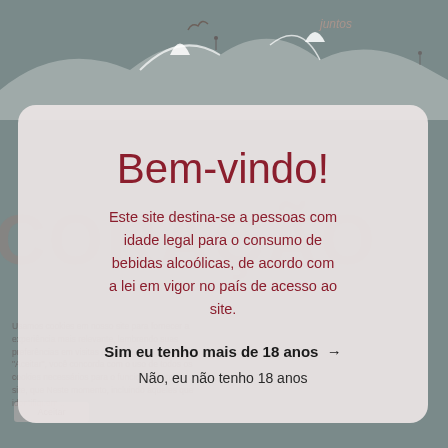Bem-vindo!
Este site destina-se a pessoas com idade legal para o consumo de bebidas alcoólicas, de acordo com a lei em vigor no país de acesso ao site.
Sim eu tenho mais de 18 anos →
Não, eu não tenho 18 anos